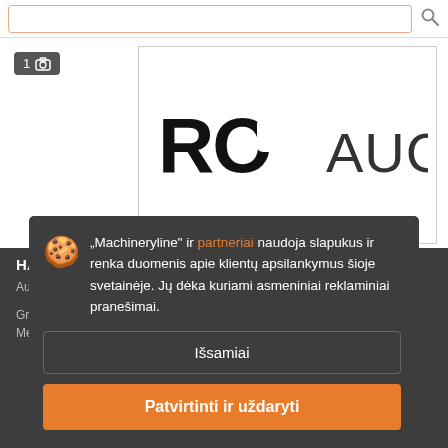[Figure (screenshot): Search bar at top of webpage with orange-bordered input field and search icon]
[Figure (logo): RO AUC logo in black bold text on white background]
1 [camera icon]
HAMM 3520HT
"Machineryline" ir partneriai naudoja slapukus ir renka duomenis apie klientų apsilankymus šioje svetainėje. Jų dėka kuriami asmeniniai reklaminiai pranešimai.
Išsamiai
Patvirtinti ir uždaryti